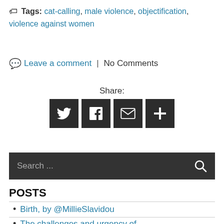Tags: cat-calling, male violence, objectification, violence against women
Leave a comment | No Comments
Share:
[Figure (other): Share buttons for Twitter, Facebook, Email, and More (plus icon)]
Search ...
POSTS
Birth, by @MillieSlavidou
The challenges and urgency of articulating depression, by